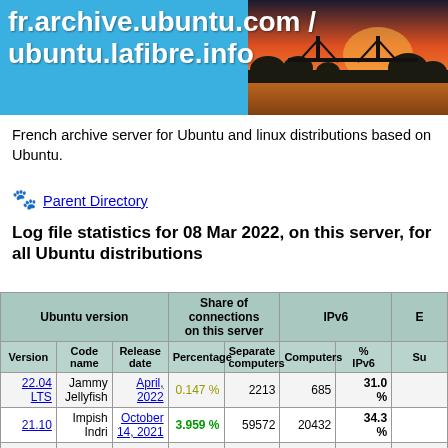fr.archive.ubuntu.com / ubuntu.lafibre.info
French archive server for Ubuntu and linux distributions based on Ubuntu.
Parent Directory
Log file statistics for 08 Mar 2022, on this server, for all Ubuntu distributions
| Ubuntu version |  |  | Share of connections on this server |  | IPv6 |  | E... |
| --- | --- | --- | --- | --- | --- | --- | --- |
| Version | Code name | Release date | Percentage | Separate computers | Computers | % IPv6 | Su... |
| 22.04 LTS | Jammy Jellyfish | April, 2022 | 0.147 % | 2213 | 685 | 31.0 % |  |
| 21.10 | Impish Indri | October 14, 2021 | 3.959 % | 59572 | 20432 | 34.3 % |  |
| 21.04 | Hirsute Hippo | April 22, 2021 | 0.938 % | 14125 | 4290 | 30.4 % |  |
| 20.10 | Groovy Gorilla | October ... | 0.679 % | 10230 | 2456 | 24.0 |  |